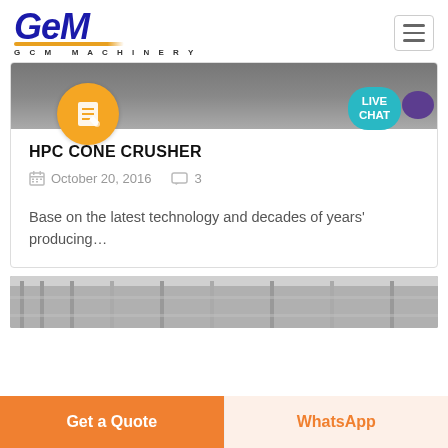[Figure (logo): GCM Machinery logo with blue stylized text and orange underline]
[Figure (screenshot): Top image strip showing industrial machinery/factory background with orange badge circle and LIVE CHAT bubble]
HPC CONE CRUSHER
October 20, 2016    3
Base on the latest technology and decades of years' producing…
[Figure (photo): Partial photo of industrial facility/factory at bottom]
Get a Quote
WhatsApp